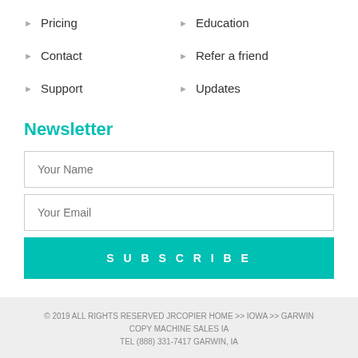Pricing
Education
Contact
Refer a friend
Support
Updates
Newsletter
Your Name
Your Email
SUBSCRIBE
© 2019 ALL RIGHTS RESERVED JRCOPIER HOME >> IOWA >> GARWIN COPY MACHINE SALES IA
TEL (888) 331-7417 GARWIN, IA